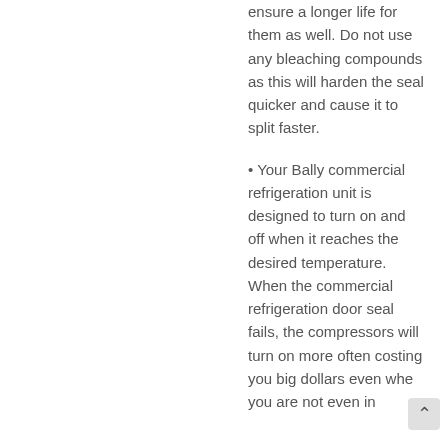ensure a longer life for them as well. Do not use any bleaching compounds as this will harden the seal quicker and cause it to split faster.
• Your Bally commercial refrigeration unit is designed to turn on and off when it reaches the desired temperature. When the commercial refrigeration door seal fails, the compressors will turn on more often costing you big dollars even when you are not even in